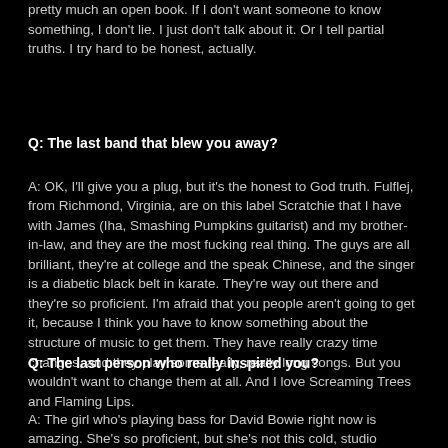pretty much an open book. If I don't want someone to know something, I don't lie. I just don't talk about it. Or I tell partial truths. I try hard to be honest, actually.
Q: The last band that blew you away?
A: OK, I'll give you a plug, but it's the honest to God truth. Fulflej, from Richmond, Virginia, are on this label Scratchie that I have with James (Iha, Smashing Pumpkins guitarist) and my brother-in-law, and they are the most fucking real thing. The guys are all brilliant, they're at college and the speak Chinese, and the singer is a diabetic black belt in karate. They're way out there and they're so proficient. I'm afraid that you people aren't going to get it, because I think you have to know something about the structure of music to get them. They have really crazy time changes, and they play some really, really long songs. But you wouldn't want to change them at all. And I love Screaming Trees and Flaming Lips.
Q: The last person who really inspired you?
A: The girl who's playing bass for David Bowie right now is amazing. She's so proficient, but she's not this cold, studio